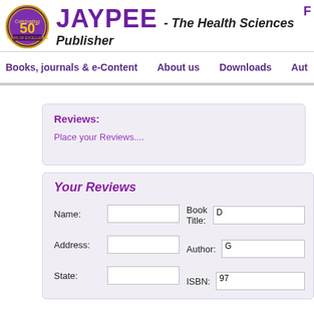[Figure (logo): Jaypee 50th anniversary circular logo with purple and gold colors]
JAYPEE - The Health Sciences Publisher
F
Books, journals & e-Content   About us   Downloads   Aut
Reviews:
Place your Reviews....
Your Reviews
Name: [input]   Book Title: D
Address: [input]   Author: G
State: [input]   ISBN: 97